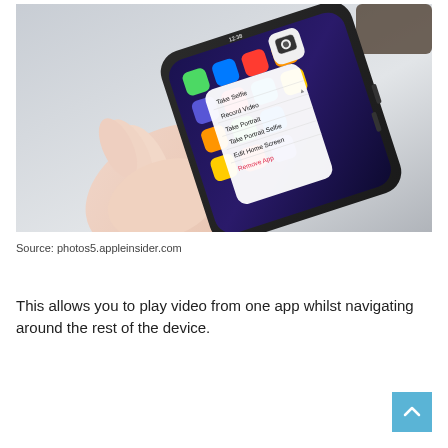[Figure (photo): A hand holding a black iPhone with its home screen visible, showing a context menu with camera quick actions including Take Selfie, Record Video, Take Portrait, Take Portrait Selfie, Edit Home Screen, and Remove App (in red). The phone is slightly tilted and photographed from above on a white surface.]
Source: photos5.appleinsider.com
This allows you to play video from one app whilst navigating around the rest of the device.